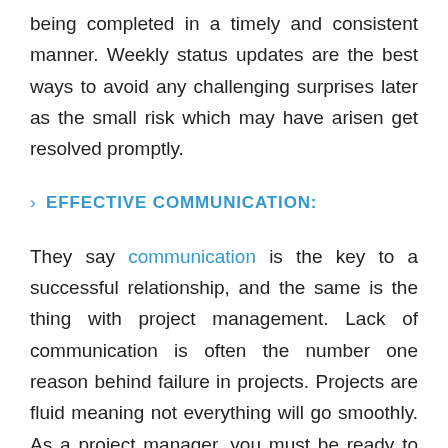being completed in a timely and consistent manner. Weekly status updates are the best ways to avoid any challenging surprises later as the small risk which may have arisen get resolved promptly.
› EFFECTIVE COMMUNICATION:
They say communication is the key to a successful relationship, and the same is the thing with project management. Lack of communication is often the number one reason behind failure in projects. Projects are fluid meaning not everything will go smoothly. As a project manager, you must be ready to face challenges and prepare your team